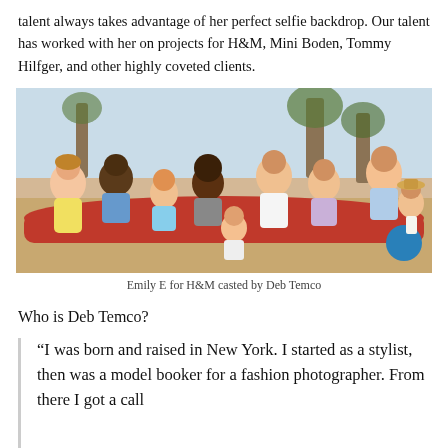talent always takes advantage of her perfect selfie backdrop. Our talent has worked with her on projects for H&M, Mini Boden, Tommy Hilfger, and other highly coveted clients.
[Figure (photo): Group of children sitting and posing on a beach setting with colorful props; fashion campaign photo]
Emily E for H&M casted by Deb Temco
Who is Deb Temco?
“I was born and raised in New York. I started as a stylist, then was a model booker for a fashion photographer. From there I got a call